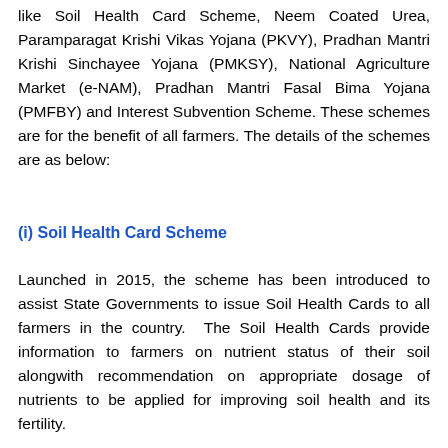like Soil Health Card Scheme, Neem Coated Urea, Paramparagat Krishi Vikas Yojana (PKVY), Pradhan Mantri Krishi Sinchayee Yojana (PMKSY), National Agriculture Market (e-NAM), Pradhan Mantri Fasal Bima Yojana (PMFBY) and Interest Subvention Scheme. These schemes are for the benefit of all farmers. The details of the schemes are as below:
(i) Soil Health Card Scheme
Launched in 2015, the scheme has been introduced to assist State Governments to issue Soil Health Cards to all farmers in the country. The Soil Health Cards provide information to farmers on nutrient status of their soil alongwith recommendation on appropriate dosage of nutrients to be applied for improving soil health and its fertility.